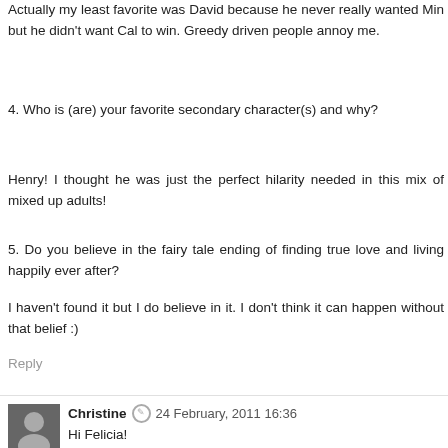Actually my least favorite was David because he never really wanted Min but he didn't want Cal to win. Greedy driven people annoy me.
4. Who is (are) your favorite secondary character(s) and why?
Henry! I thought he was just the perfect hilarity needed in this mix of mixed up adults!
5. Do you believe in the fairy tale ending of finding true love and living happily ever after?
I haven't found it but I do believe in it. I don't think it can happen without that belief :)
Reply
Christine  24 February, 2011 16:36
Hi Felicia!
So you think Cal really made the bet? I agree that David and Cal walked away thinking differently about what was